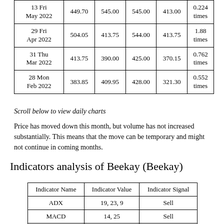| Date | Price | Open | High | Low | Volume |
| --- | --- | --- | --- | --- | --- |
| 13 Fri May 2022 | 449.70 | 545.00 | 545.00 | 413.00 | 0.224 times |
| 29 Fri Apr 2022 | 504.05 | 413.75 | 544.00 | 413.75 | 1.88 times |
| 31 Thu Mar 2022 | 413.75 | 390.00 | 425.00 | 370.15 | 0.762 times |
| 28 Mon Feb 2022 | 383.85 | 409.95 | 428.00 | 321.30 | 0.552 times |
Scroll below to view daily charts
Price has moved down this month, but volume has not increased substantially. This means that the move can be temporary and might not continue in coming months.
Indicators analysis of Beekay (Beekay)
| Indicator Name | Indicator Value | Indicator Signal |
| --- | --- | --- |
| ADX | 19, 23, 9 | Sell |
| MACD | 14, 25 | Sell |
| Stochastics | 16 | Sell |
| CCI | -83 | Buy |